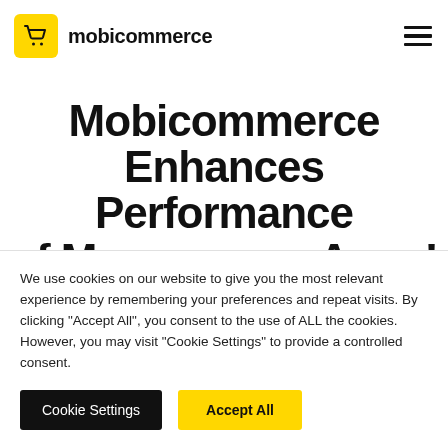mobicommerce
Mobicommerce Enhances Performance of Mcommerce Apps!
We use cookies on our website to give you the most relevant experience by remembering your preferences and repeat visits. By clicking "Accept All", you consent to the use of ALL the cookies. However, you may visit "Cookie Settings" to provide a controlled consent.